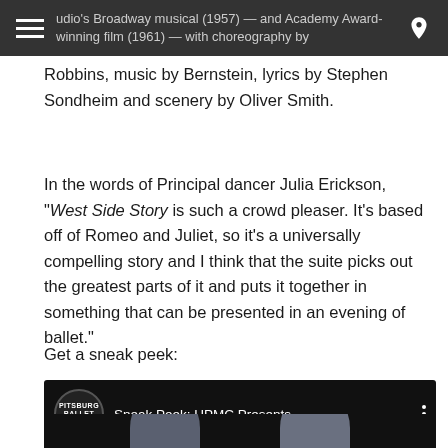udio's Broadway musical (1957) — and Academy Award-winning film (1961) — with choreography by
Robbins, music by Bernstein, lyrics by Stephen Sondheim and scenery by Oliver Smith.
In the words of Principal dancer Julia Erickson, "West Side Story is such a crowd pleaser. It's based off of Romeo and Juliet, so it's a universally compelling story and I think that the suite picks out the greatest parts of it and puts it together in something that can be presented in an evening of ballet."
Get a sneak peek:
[Figure (screenshot): YouTube video thumbnail showing 'Sneak Peek: UPMC Presents ...' with Pittsburgh Ballet Theatre logo and two performers on a dark stage background]